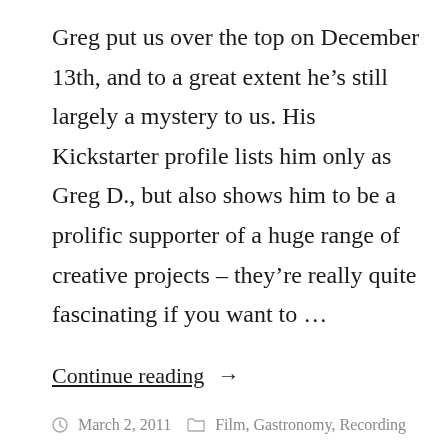Greg put us over the top on December 13th, and to a great extent he's still largely a mystery to us. His Kickstarter profile lists him only as Greg D., but also shows him to be a prolific supporter of a huge range of creative projects – they're really quite fascinating if you want to …
Continue reading →
March 2, 2011   Film, Gastronomy, Recording